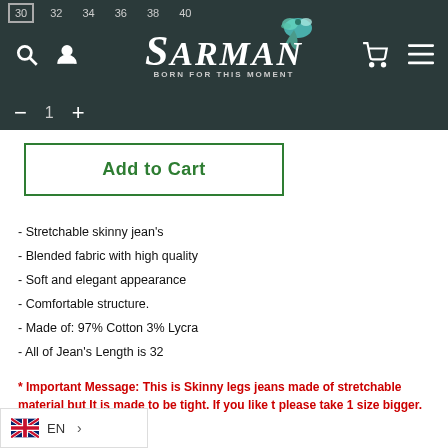[Figure (screenshot): E-commerce website header with dark teal background showing Sarman brand logo, navigation icons (search, account, cart, menu), size selector numbers (30, 32, 34, 36, 38, 40), quantity controls (minus, 1, plus), and a decorative bird illustration.]
Add to Cart
- Stretchable skinny jean's
- Blended fabric with high quality
- Soft and elegant appearance
- Comfortable structure.
- Made of: 97% Cotton 3% Lycra
- All of Jean's Length is 32
* Important Message: This is Skinny legs jeans made of stretchable material but It is made to be tight. If you like t please take 1 size bigger. Thank you
[Figure (screenshot): Language switcher widget showing UK flag, EN text, and a right arrow chevron.]